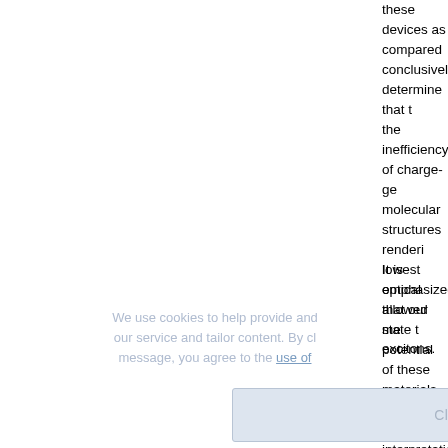these devices as compared conclusively determine that the inefficiency of charge-gen molecular structures render lowest optical allowed state excitons.
It is emphasized that our me potential of these materials. devices and interpretation o obscure their true potential. be extrinsic in nature and the to both time and materials. T determine the intrinsic poten the resources that would be also allows us to learn more relationships and their impli increased understanding are response of a material, a ne rapidly efficient internal conv as poor candidates for solar applications, as optical swit has implications for the who limited to the particular mat this case, we are essentially in a structure that will prese
We use cookies to help provide and enhance our service and tailor content. By closing this message, you agree to the use of cookies.